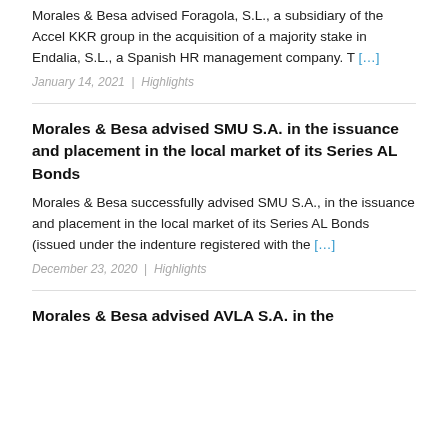Morales & Besa advised Foragola, S.L., a subsidiary of the Accel KKR group in the acquisition of a majority stake in Endalia, S.L., a Spanish HR management company. T [...]
January 14, 2021  |  Highlights
Morales & Besa advised SMU S.A. in the issuance and placement in the local market of its Series AL Bonds
Morales & Besa successfully advised SMU S.A., in the issuance and placement in the local market of its Series AL Bonds (issued under the indenture registered with the [...]
December 23, 2020  |  Highlights
Morales & Besa advised AVLA S.A. in the